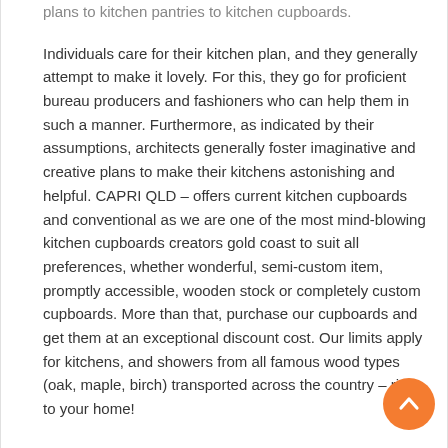plans to kitchen pantries to kitchen cupboards. Individuals care for their kitchen plan, and they generally attempt to make it lovely. For this, they go for proficient bureau producers and fashioners who can help them in such a manner. Furthermore, as indicated by their assumptions, architects generally foster imaginative and creative plans to make their kitchens astonishing and helpful. CAPRI QLD – offers current kitchen cupboards and conventional as we are one of the most mind-blowing kitchen cupboards creators gold coast to suit all preferences, whether wonderful, semi-custom item, promptly accessible, wooden stock or completely custom cupboards. More than that, purchase our cupboards and get them at an exceptional discount cost. Our limits apply for kitchens, and showers from all famous wood types (oak, maple, birch) transported across the country – right to your home!